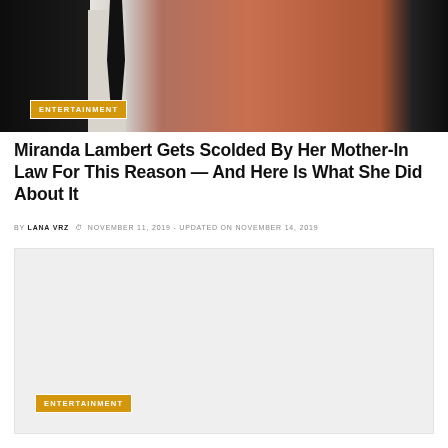[Figure (photo): Photo of two people, a man in a dark suit with black tie and a woman with blonde hair wearing a rust/orange embroidered outfit]
ENTERTAINMENT
Miranda Lambert Gets Scolded By Her Mother-In Law For This Reason — And Here Is What She Did About It
BY LANA VRZ  NOVEMBER 11, 2019 - UPDATED ON NOVEMBER 14, 2019
[Figure (photo): Large gray/blank image placeholder with ENTERTAINMENT badge at bottom left]